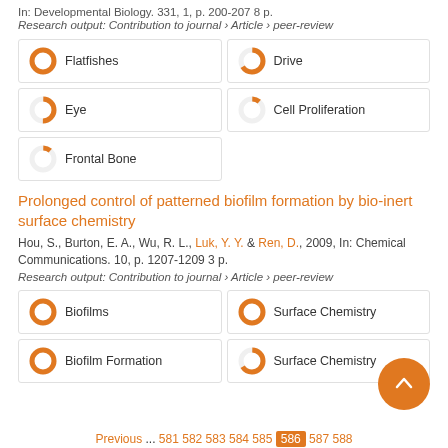In: Developmental Biology. 331, 1, p. 200-207 8 p.
Research output: Contribution to journal › Article › peer-review
[Figure (infographic): Keyword badges with donut chart icons: Flatfishes (100%), Drive (66%), Eye (50%), Cell Proliferation (11%), Frontal Bone (11%)]
Prolonged control of patterned biofilm formation by bio-inert surface chemistry
Hou, S., Burton, E. A., Wu, R. L., Luk, Y. Y. & Ren, D., 2009, In: Chemical Communications. 10, p. 1207-1209 3 p.
Research output: Contribution to journal › Article › peer-review
[Figure (infographic): Keyword badges with donut chart icons: Biofilms (100%), Surface Chemistry (100%), Biofilm Formation (100%), Surface Chemistry (66%)]
Previous ... 581 582 583 584 585 586 587 588